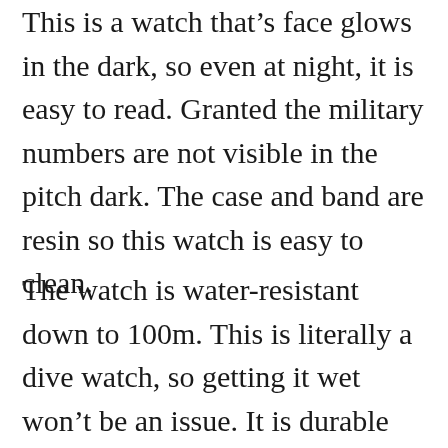This is a watch that's face glows in the dark, so even at night, it is easy to read. Granted the military numbers are not visible in the pitch dark. The case and band are resin so this watch is easy to clean.
The watch is water-resistant down to 100m. This is literally a dive watch, so getting it wet won't be an issue. It is durable and lightweight. This is a no-frills simple watch that does its job brilliantly.